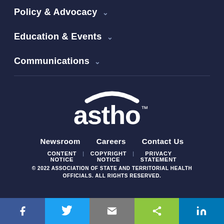Policy & Advocacy ∨
Education & Events ∨
Communications ∨
[Figure (logo): ASTHO logo — white arc over white lowercase text 'astho' with TM mark]
Newsroom   Careers   Contact Us
CONTENT NOTICE | COPYRIGHT NOTICE | PRIVACY STATEMENT
© 2022 ASSOCIATION OF STATE AND TERRITORIAL HEALTH OFFICIALS. ALL RIGHTS RESERVED.
f  (Twitter)  (Email)  (Share)  in